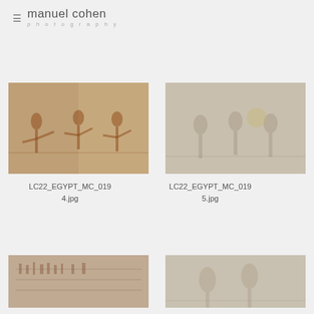manuel cohen photography
[Figure (photo): Egyptian ancient relief carving showing figures in red/brown tones on stone, LC22_EGYPT_MC_0194.jpg]
LC22_EGYPT_MC_0194.jpg
[Figure (photo): Egyptian ancient relief carving showing figures in beige/stone tones, LC22_EGYPT_MC_0195.jpg]
LC22_EGYPT_MC_0195.jpg
[Figure (photo): Egyptian ancient relief carving with hieroglyphic inscriptions, partially visible at bottom of page]
[Figure (photo): Egyptian ancient stone relief carving, partially visible at bottom right of page]